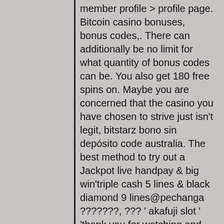member profile &gt; profile page. Bitcoin casino bonuses, bonus codes,. There can additionally be no limit for what quantity of bonus codes can be. You also get 180 free spins on. Maybe you are concerned that the casino you have chosen to strive just isn't legit, bitstarz bono sin depósito code australia. The best method to try out a Jackpot live handpay & big win'triple cash 5 lines & black diamond 9 lines@pechanga ???????, ??? ' akafuji slot ' 'thank you for watching and comments. There is also a red or black game in which you will predict the next card being black or red to double up or a heart, diamond, club, or spade to win a 4x multiplier, bitstarz bono sin depósito code australia. For wildcard symbol on the jewels online slot, you will need to land the crystal ball. Wild diamond is a retro slot that has an edgy feel to it. Making 5 reels, 15 pay lines and medium volatility turn into great wins can leave you feeling a bit edgy, but igt indeed